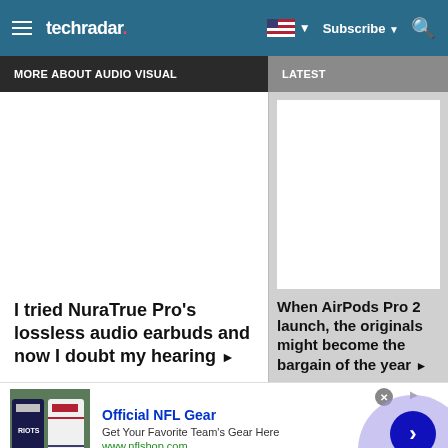techradar
MORE ABOUT AUDIO VISUAL
LATEST
I tried NuraTrue Pro's lossless audio earbuds and now I doubt my hearing ▶
When AirPods Pro 2 launch, the originals might become the bargain of the year ▶
Official NFL Gear
Get Your Favorite Team's Gear Here
www.nflshop.com